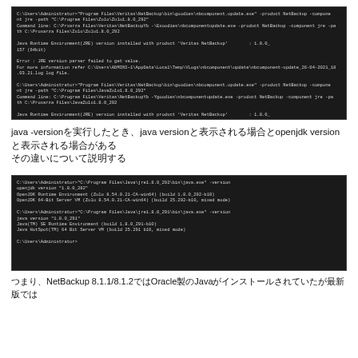[Figure (screenshot): Command prompt screenshot showing Veritas NetBackup component update errors with JRE version parser failed messages]
java -versionを実行したとき、java versionと表示される場合とopenjdk versionと表示される場合がある
その違いについて説明する
[Figure (screenshot): Command prompt showing java.exe -version output for OpenJDK version 1.8.0_292 and Oracle Java version 1.8.0_291]
つまり、NetBackup 8.1.1/8.1.2ではOracle製のJavaがインストールされていたが最新版では